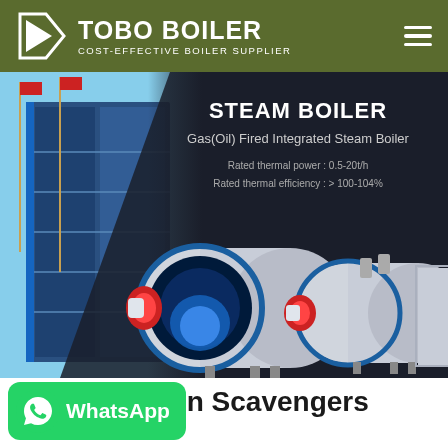TOBO BOILER - COST-EFFECTIVE BOILER SUPPLIER
[Figure (screenshot): Hero banner showing steam boilers on a dark background with a building photo on the left. Text overlay reads: STEAM BOILER, Gas(Oil) Fired Integrated Steam Boiler, Rated thermal power: 0.5-20t/h, Rated thermal efficiency: > 100-104%]
Boiler Oxygen Scavengers
[Figure (logo): WhatsApp button in green with phone icon and text 'WhatsApp']
Hot N...